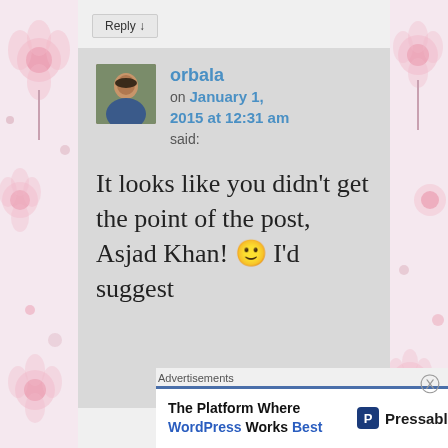[Figure (illustration): Decorative floral pattern on left side panel with pink flowers on white/pink background]
[Figure (illustration): Decorative floral pattern on right side panel with pink flowers on white/pink background]
Reply ↓
orbala
on January 1, 2015 at 12:31 am
said:
[Figure (photo): Avatar photo of a woman with dark hair]
It looks like you didn't get the point of the post, Asjad Khan! 🙂 I'd suggest
Advertisements
The Platform Where WordPress Works Best    P Pressable